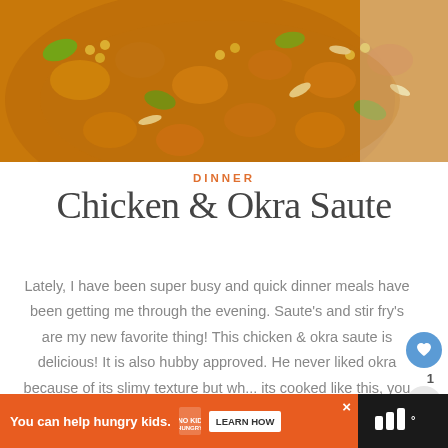[Figure (photo): Top-down photo of chicken and okra saute in a bowl with green peppers, corn, and sliced almonds with orange-yellow spiced sauce]
DINNER
Chicken & Okra Saute
Lately, I have been super busy and quick dinner meals have been getting me through the evening. Saute's and stir fry's are my new favorite thing! This chicken & okra saute is delicious! It is also hubby approved. He never liked okra because of its slimy texture but wh... its cooked like this, you don't...
[Figure (other): Advertisement banner: orange background with 'You can help hungry kids.' text, No Kid Hungry logo, and Learn How button]